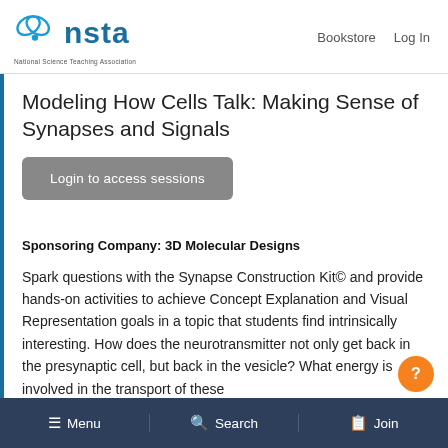NSTA — National Science Teaching Association | Bookstore  Log In
Modeling How Cells Talk: Making Sense of Synapses and Signals
Login to access sessions
Sponsoring Company: 3D Molecular Designs
Spark questions with the Synapse Construction Kit© and provide hands-on activities to achieve Concept Explanation and Visual Representation goals in a topic that students find intrinsically interesting. How does the neurotransmitter not only get back in the presynaptic cell, but back in the vesicle? What energy is involved in the transport of these
Menu  Search  Join